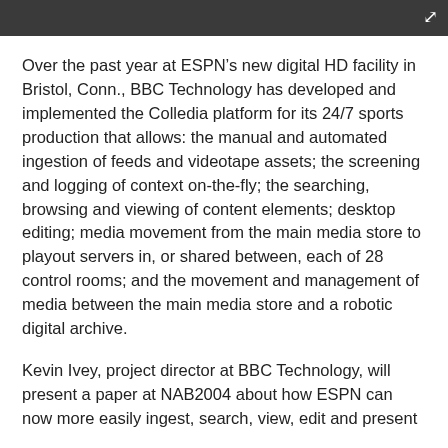Over the past year at ESPN’s new digital HD facility in Bristol, Conn., BBC Technology has developed and implemented the Colledia platform for its 24/7 sports production that allows: the manual and automated ingestion of feeds and videotape assets; the screening and logging of context on-the-fly; the searching, browsing and viewing of content elements; desktop editing; media movement from the main media store to playout servers in, or shared between, each of 28 control rooms; and the movement and management of media between the main media store and a robotic digital archive.
Kevin Ivey, project director at BBC Technology, will present a paper at NAB2004 about how ESPN can now more easily ingest, search, view, edit and present